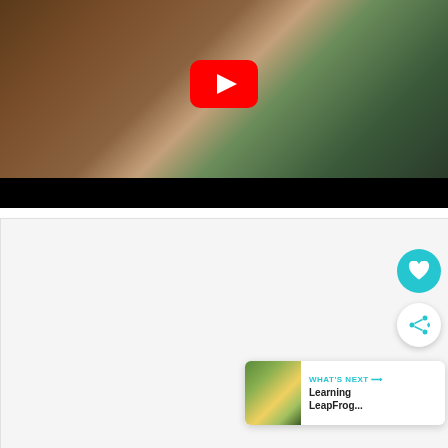[Figure (screenshot): YouTube video thumbnail screenshot showing a child from above playing with cards on a wooden table and a tablet device. A large red YouTube play button is centered on the image. The bottom portion is a black letterbox bar.]
[Figure (screenshot): Lower section of a webpage with a light gray background. Contains a circular teal heart/favorite button on the right, a white circular share button below it, and a 'What's Next' card in the bottom-right showing a thumbnail and the text 'Learning LeapFrog...' with a teal arrow.]